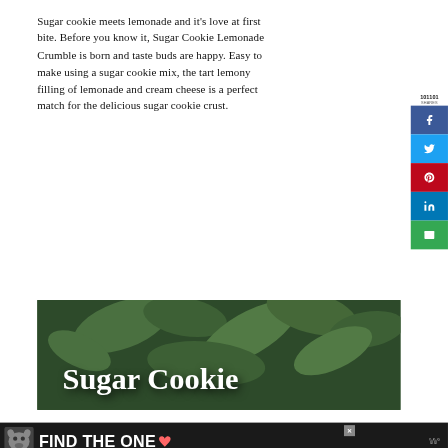Sugar cookie meets lemonade and it's love at first bite. Before you know it, Sugar Cookie Lemonade Crumble is born and taste buds are happy. Easy to make using a sugar cookie mix, the tart lemony filling of lemonade and cream cheese is a perfect match for the delicious sugar cookie crust.
[Figure (infographic): Social media share sidebar with counts: 101101 SHARES, Facebook (blue), Twitter (light blue), Pinterest (red), LinkedIn (dark blue), Email (green) buttons]
[Figure (photo): Photo of green eucalyptus leaves with white text overlay reading 'Sugar Cookie']
[Figure (infographic): Dark advertisement banner with dog icon and text 'FIND THE ONE' with heart icon]